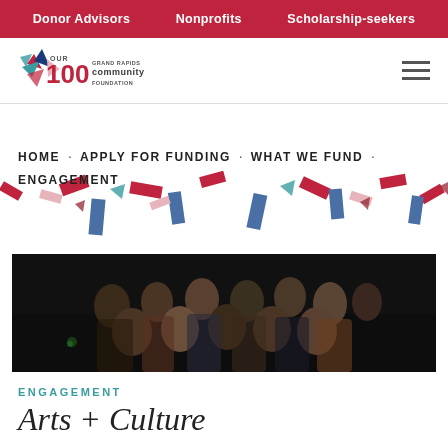Donor Advisors | Nonprofits | Scholarship-seekers
[Figure (logo): Grand Rapids Community Foundation OUR 100 logo with colorful star/arrow graphic and text]
HOME · APPLY FOR FUNDING · WHAT WE FUND · ENGAGEMENT
[Figure (photo): Group of diverse young people posing together on a dark stage]
ENGAGEMENT
Arts + Culture